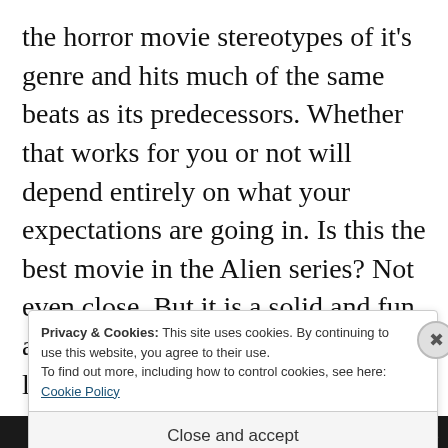the horror movie stereotypes of it's genre and hits much of the same beats as its predecessors. Whether that works for you or not will depend entirely on what your expectations are going in. Is this the best movie in the Alien series? Not even close. But it is a solid and fun addition that will entertain and leave you with several questions that will hopefully be answered
Privacy & Cookies: This site uses cookies. By continuing to use this website, you agree to their use.
To find out more, including how to control cookies, see here:
Cookie Policy
Close and accept